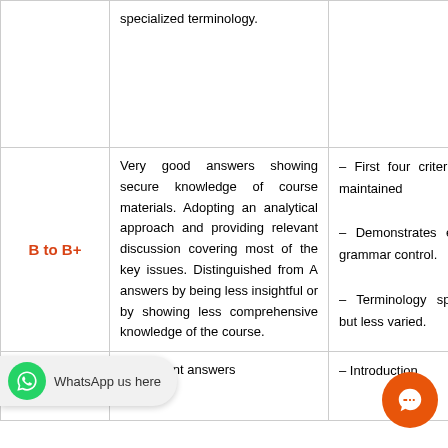| Grade | Description | Criteria |
| --- | --- | --- |
|  | specialized terminology. |  |
| B to B+ | Very good answers showing secure knowledge of course materials. Adopting an analytical approach and providing relevant discussion covering most of the key issues. Distinguished from A answers by being less insightful or by showing less comprehensive knowledge of the course. | – First four criteria above maintained
– Demonstrates extensive grammar control.
– Terminology specialized but less varied. |
| C to C+ | Competent answers | – Introduction |